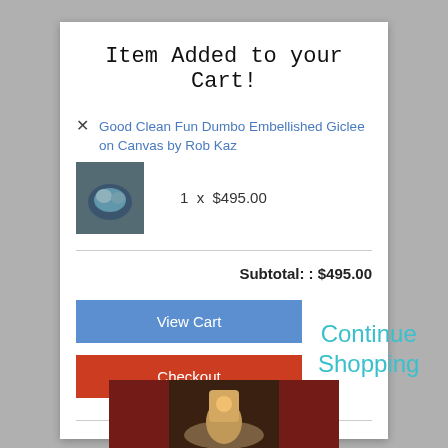Item Added to your Cart!
Good Clean Fun Dumbo Embellished Giclee on Canvas by Rob Kaz
1 x $495.00
Subtotal: : $495.00
View Cart
Checkout
Continue Shopping